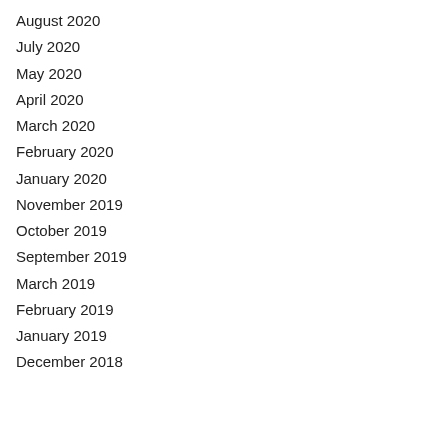August 2020
July 2020
May 2020
April 2020
March 2020
February 2020
January 2020
November 2019
October 2019
September 2019
March 2019
February 2019
January 2019
December 2018